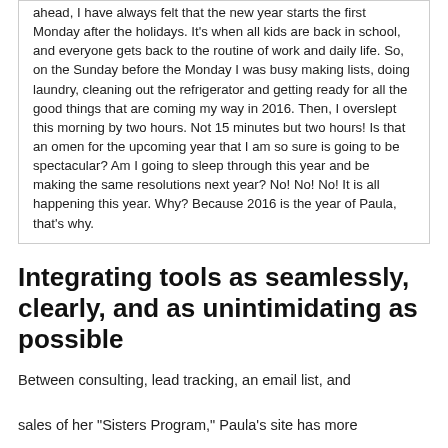ahead, I have always felt that the new year starts the first Monday after the holidays. It's when all kids are back in school, and everyone gets back to the routine of work and daily life. So, on the Sunday before the Monday I was busy making lists, doing laundry, cleaning out the refrigerator and getting ready for all the good things that are coming my way in 2016. Then, I overslept this morning by two hours. Not 15 minutes but two hours! Is that an omen for the upcoming year that I am so sure is going to be spectacular? Am I going to sleep through this year and be making the same resolutions next year? No! No! No! It is all happening this year. Why? Because 2016 is the year of Paula, that's why.
Integrating tools as seamlessly, clearly, and as unintimidating as possible
Between consulting, lead tracking, an email list, and sales of her "Sisters Program," Paula's site has more